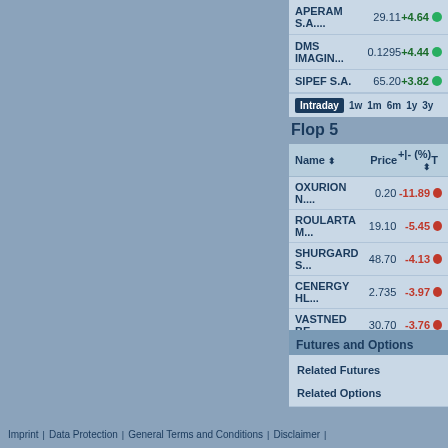| Name | Price | +|- (%) |
| --- | --- | --- |
| APERAM S.A.... | 29.11 | +4.64 |
| DMS IMAGIN... | 0.1295 | +4.44 |
| SIPEF S.A. | 65.20 | +3.82 |
Flop 5
| Name | Price | +|- (%) | T... |
| --- | --- | --- | --- |
| OXURION N.... | 0.20 | -11.89 |  |
| ROULARTA M... | 19.10 | -5.45 |  |
| SHURGARD S... | 48.70 | -4.13 |  |
| CENERGY HL... | 2.735 | -3.97 |  |
| VASTNED BE... | 30.70 | -3.76 |  |
Futures and Options
Related Futures
Related Options
Imprint | Data Protection | General Terms and Conditions | Disclaimer